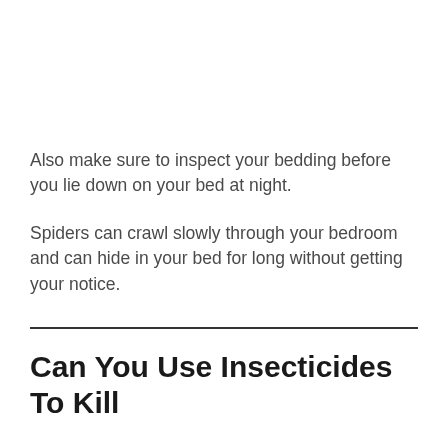Also make sure to inspect your bedding before you lie down on your bed at night.
Spiders can crawl slowly through your bedroom and can hide in your bed for long without getting your notice.
Can You Use Insecticides To Kill